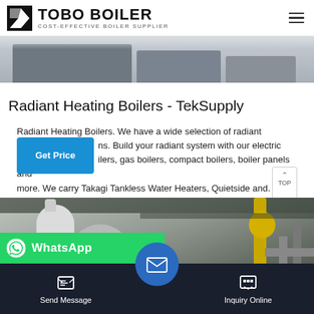TOBO BOILER - COST-EFFECTIVE BOILER SUPPLIER
[Figure (photo): Photo of industrial boilers/heating equipment, showing grey/blue rectangular boiler units on a floor]
Radiant Heating Boilers - TekSupply
Radiant Heating Boilers. We have a wide selection of radiant heating solutions. Build your radiant system with our electric boilers, gas boilers, compact boilers, boiler panels and more. We carry Takagi Tankless Water Heaters, Quietside and.
[Figure (photo): Industrial boiler room photo showing white cylindrical tank, round vessel, yellow pipes and fittings, vertical pipes, ceiling structure]
[Figure (screenshot): WhatsApp contact bar with green background showing WhatsApp logo and text]
Send Message | Inquiry Online